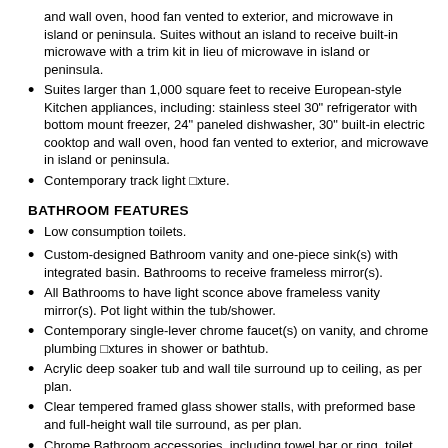and wall oven, hood fan vented to exterior, and microwave in island or peninsula. Suites without an island to receive built-in microwave with a trim kit in lieu of microwave in island or peninsula.
Suites larger than 1,000 square feet to receive European-style Kitchen appliances, including: stainless steel 30" refrigerator with bottom mount freezer, 24" paneled dishwasher, 30" built-in electric cooktop and wall oven, hood fan vented to exterior, and microwave in island or peninsula.
Contemporary track light □xture.
BATHROOM FEATURES
Low consumption toilets.
Custom-designed Bathroom vanity and one-piece sink(s) with integrated basin. Bathrooms to receive frameless mirror(s).
All Bathrooms to have light sconce above frameless vanity mirror(s). Pot light within the tub/shower.
Contemporary single-lever chrome faucet(s) on vanity, and chrome plumbing □xtures in shower or bathtub.
Acrylic deep soaker tub and wall tile surround up to ceiling, as per plan.
Clear tempered framed glass shower stalls, with preformed base and full-height wall tile surround, as per plan.
Chrome Bathroom accessories, including towel bar or ring, toilet paper holder, and shower rod./